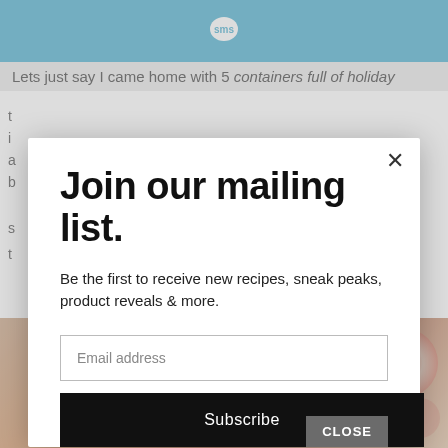[Figure (logo): SMS chat bubble logo in white on blue header bar]
Lets just say I came home with 5 containers full of holiday
t
i
a
b
s
t
[Figure (photo): Food/candy photo background with peppermint candies]
Join our mailing list.
Be the first to receive new recipes, sneak peaks, product reveals & more.
Email address
Subscribe
CLOSE